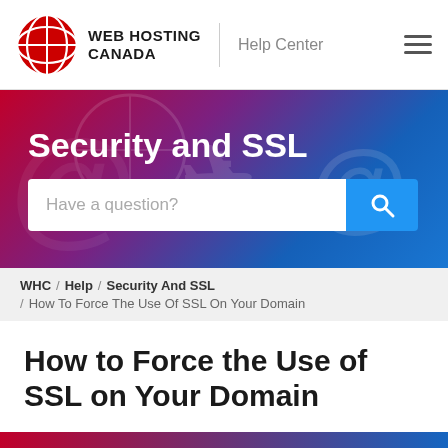WEB HOSTING CANADA | Help Center
Security and SSL
Have a question?
WHC / Help / Security And SSL / How To Force The Use Of SSL On Your Domain
How to Force the Use of SSL on Your Domain